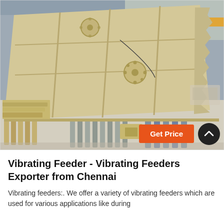[Figure (photo): Large industrial vibrating feeder machine lying on its side in a warehouse/factory floor. The machine is painted cream/beige and shows multiple decks with bolt-on side panels and spring mounts. Industrial equipment parts are stacked nearby.]
Vibrating Feeder - Vibrating Feeders Exporter from Chennai
Vibrating feeders:. We offer a variety of vibrating feeders which are used for various applications like during